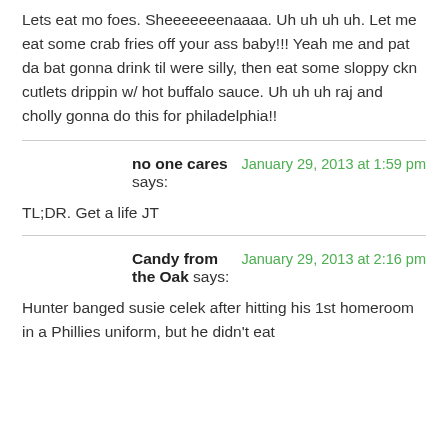Lets eat mo foes. Sheeeeeeenaaaa. Uh uh uh uh. Let me eat some crab fries off your ass baby!!! Yeah me and pat da bat gonna drink til were silly, then eat some sloppy ckn cutlets drippin w/ hot buffalo sauce. Uh uh uh raj and cholly gonna do this for philadelphia!!
no one cares says: January 29, 2013 at 1:59 pm
TL;DR. Get a life JT
Candy from the Oak says: January 29, 2013 at 2:16 pm
Hunter banged susie celek after hitting his 1st homeroom in a Phillies uniform, but he didn't eat